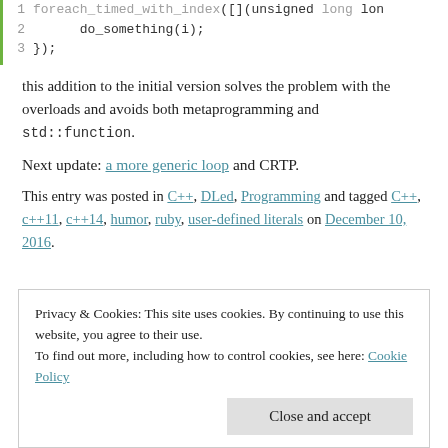1  foreach_timed_with_index([](unsigned long lon...
2      do_something(i);
3  });
this addition to the initial version solves the problem with the overloads and avoids both metaprogramming and std::function.
Next update: a more generic loop and CRTP.
This entry was posted in C++, DLed, Programming and tagged C++, c++11, c++14, humor, ruby, user-defined literals on December 10, 2016.
Privacy & Cookies: This site uses cookies. By continuing to use this website, you agree to their use.
To find out more, including how to control cookies, see here: Cookie Policy